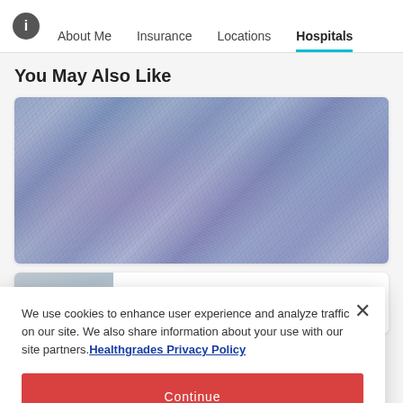About Me | Insurance | Locations | Hospitals
You May Also Like
[Figure (photo): Close-up macro photograph of fuzzy blue/purple fiber or wool fabric texture with pink and red strands woven through]
We use cookies to enhance user experience and analyze traffic on our site. We also share information about your use with our site partners. Healthgrades Privacy Policy
Continue
Access my Privacy Preferences